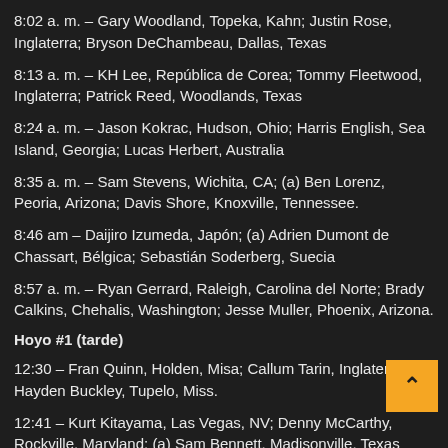8:02 a. m. – Gary Woodland, Topeka, Kahn; Justin Rose, Inglaterra; Bryson DeChambeau, Dallas, Texas
8:13 a. m. – KH Lee, República de Corea; Tommy Fleetwood, Inglaterra; Patrick Reed, Woodlands, Texas
8:24 a. m. – Jason Kokrac, Hudson, Ohio; Harris English, Sea Island, Georgia; Lucas Herbert, Australia
8:35 a. m. – Sam Stevens, Wichita, CA; (a) Ben Lorenz, Peoria, Arizona; Davis Shore, Knoxville, Tennessee.
8:46 am – Daijiro Izumeda, Japón; (a) Adrien Dumont de Chassart, Bélgica; Sebastián Soderberg, Suecia
8:57 a. m. – Ryan Gerrard, Raleigh, Carolina del Norte; Brady Calkins, Chehalis, Washington; Jesse Muller, Phoenix, Arizona.
Hoyo #1 (tarde)
12:30 – Fran Quinn, Holden, Misa; Callum Tarin, Inglaterra; Hayden Buckley, Tupelo, Miss.
12:41 – Kurt Kitayama, Las Vegas, NV; Denny McCarthy, Rockville, Maryland; (a) Sam Bennett, Madisonville, Texas